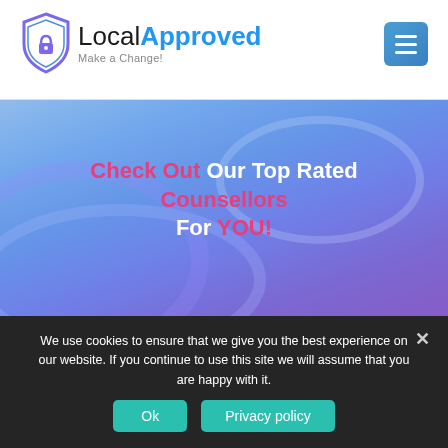[Figure (logo): LocalApproved logo with shield icon and tagline 'Make a Change!']
[Figure (screenshot): Blue gradient hero banner with person using laptop, overlaid with centered headline text]
Check Out Our Top Rated Counsellors For YOU!
We use cookies to ensure that we give you the best experience on our website. If you continue to use this site we will assume that you are happy with it.